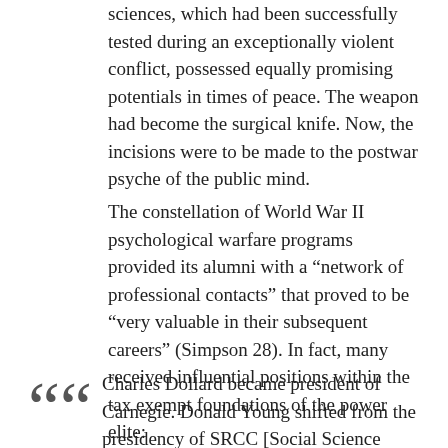sciences, which had been successfully tested during an exceptionally violent conflict, possessed equally promising potentials in times of peace. The weapon had become the surgical knife. Now, the incisions were to be made to the postwar psyche of the public mind.
The constellation of World War II psychological warfare programs provided its alumni with a “network of professional contacts” that proved to be “very valuable in their subsequent careers” (Simpson 28). In fact, many received influential positions within the tax exempt foundations of the power elite:
Charles Dollard became president of Carnegie. Donald Young shifted from the presidency of SRCC [Social Science Research Council] to